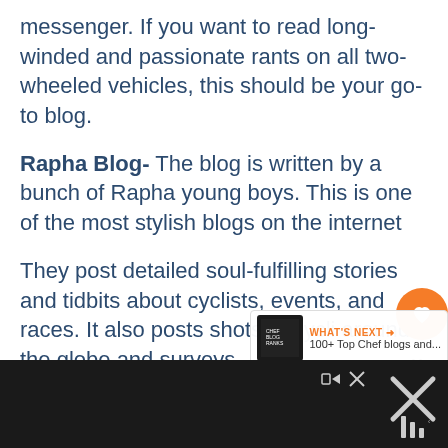messenger. If you want to read long-winded and passionate rants on all two-wheeled vehicles, this should be your go-to blog.
Rapha Blog- The blog is written by a bunch of Rapha young boys. This is one of the most stylish blogs on the internet
They post detailed soul-fulfilling stories and tidbits about cyclists, events, and races. It also posts shots of cycli around the globe and surveys.
[Figure (other): Orange circular love/heart button overlay on right side]
[Figure (other): Share icon with count 11 in white rounded card on right side]
[Figure (other): What's Next promo overlay showing '100+ Top Chef blogs and...' with thumbnail]
[Figure (other): Black bottom bar with ad controls, close X button, and weatherbug-style icon]